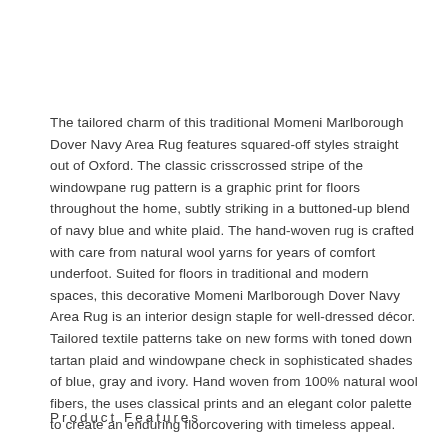The tailored charm of this traditional Momeni Marlborough Dover Navy Area Rug features squared-off styles straight out of Oxford. The classic crisscrossed stripe of the windowpane rug pattern is a graphic print for floors throughout the home, subtly striking in a buttoned-up blend of navy blue and white plaid. The hand-woven rug is crafted with care from natural wool yarns for years of comfort underfoot. Suited for floors in traditional and modern spaces, this decorative Momeni Marlborough Dover Navy Area Rug is an interior design staple for well-dressed décor. Tailored textile patterns take on new forms with toned down tartan plaid and windowpane check in sophisticated shades of blue, gray and ivory. Hand woven from 100% natural wool fibers, the uses classical prints and an elegant color palette to create an enduring floorcovering with timeless appeal.
Product Features